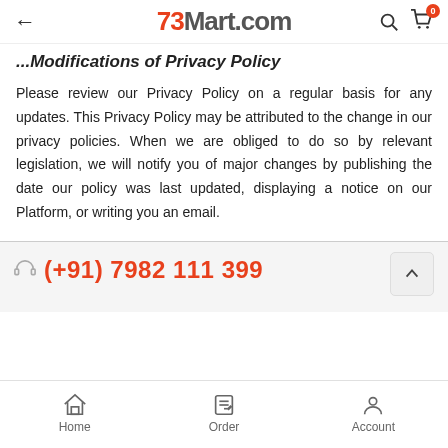73Mart.com
Modifications of Privacy Policy
Please review our Privacy Policy on a regular basis for any updates. This Privacy Policy may be attributed to the change in our privacy policies. When we are obliged to do so by relevant legislation, we will notify you of major changes by publishing the date our policy was last updated, displaying a notice on our Platform, or writing you an email.
(+91) 7982 111 399
Home  Order  Account